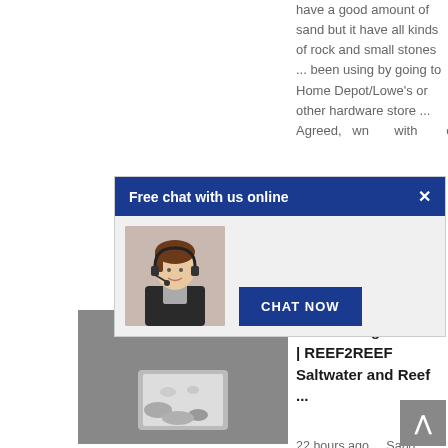have a good amount of sand but it have all kinds of rock and small stones ... been using by going to Home Depot/Lowe's or other hardware store ... Agreed, own with oth.
[Figure (screenshot): Chat widget popup with blue header 'Free chat with us online', a close X button, an image of a female customer service agent with headset, and a 'CHAT NOW' button]
[Figure (photo): Photo of sand sifting process or aquarium sand with rocks/critters]
price
sand sifting critters? | REEF2REEF Saltwater and Reef ...
22 hours ago ... Sand sifting starfish and